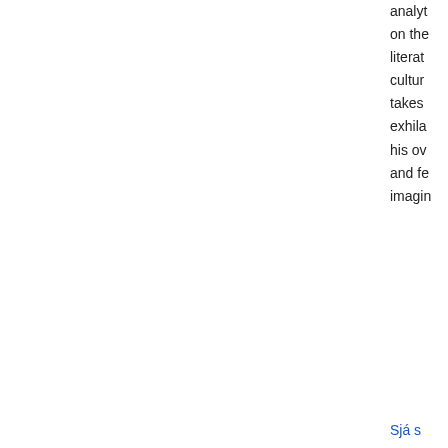analyt on the literat cultur takes exhila his ov and fe imagin
Sjá s
From inside the book
father
Leita
Niðurstöður 1 - 5 af 42
Síða
It is not clear how Shah Zaman in Samarkand